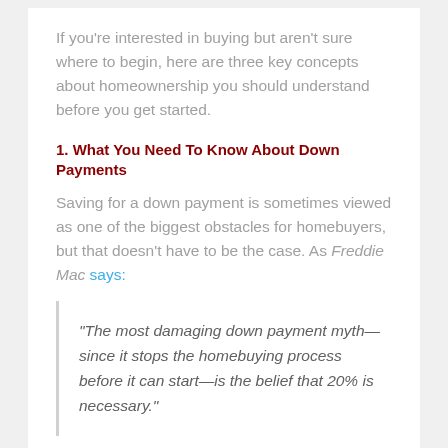If you're interested in buying but aren't sure where to begin, here are three key concepts about homeownership you should understand before you get started.
1. What You Need To Know About Down Payments
Saving for a down payment is sometimes viewed as one of the biggest obstacles for homebuyers, but that doesn't have to be the case. As Freddie Mac says:
“The most damaging down payment myth—since it stops the homebuying process before it can start—is the belief that 20% is necessary.”
According to the...